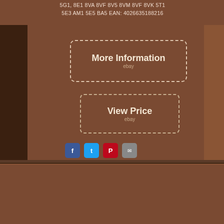5G1, 8E1 8VA 8VF 8V5 8VM 8VF 8VK 5T1 5E3 AM1 5E5 BA5 EAN: 4026635188216
[Figure (other): More Information button with dashed border - eBay listing button]
[Figure (other): View Price button with dashed border - eBay listing button]
[Figure (other): Social media share icons: Facebook, Twitter, Pinterest, Email]
passat golf beetle skoda piston engine seal pistons charger seat front mounting automatic